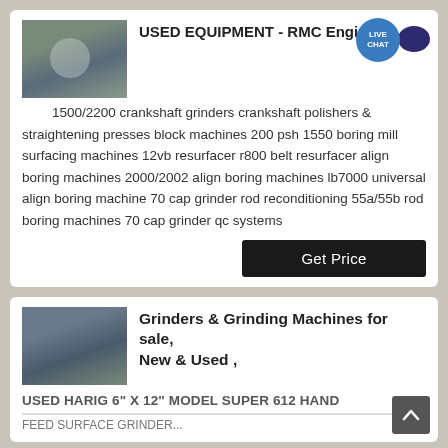[Figure (photo): Photo of industrial equipment/machinery in a warehouse setting]
USED EQUIPMENT - RMC Engine
1500/2200 crankshaft grinders crankshaft polishers & straightening presses block machines 200 psh 1550 boring mill surfacing machines 12vb resurfacer r800 belt resurfacer align boring machines 2000/2002 align boring machines lb7000 universal align boring machine 70 cap grinder rod reconditioning 55a/55b rod boring machines 70 cap grinder qc systems
[Figure (photo): Photo of industrial grinder/grinding machine in a facility]
Grinders & Grinding Machines for sale, New & Used ,
USED HARIG 6" X 12" MODEL SUPER 612 HAND FEED SURFACE GRINDER...